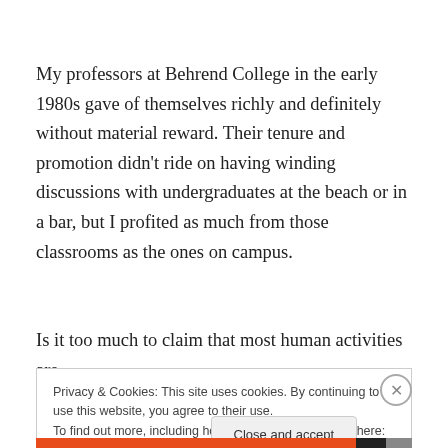My professors at Behrend College in the early 1980s gave of themselves richly and definitely without material reward. Their tenure and promotion didn't ride on having winding discussions with undergraduates at the beach or in a bar, but I profited as much from those classrooms as the ones on campus.
Is it too much to claim that most human activities are
Privacy & Cookies: This site uses cookies. By continuing to use this website, you agree to their use.
To find out more, including how to control cookies, see here: Cookie Policy